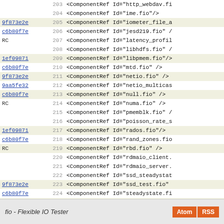| link/annotation | line | code |
| --- | --- | --- |
|  | 203 | <ComponentRef Id="http_webdav.fi |
|  | 204 | <ComponentRef Id="ime.fio"/> |
| 9f873e2e | 205 | <ComponentRef Id="iometer_file_a |
| c6b80f7e | 206 | <ComponentRef Id="jesd219.fio" / |
| RC | 207 | <ComponentRef Id="latency_profil |
|  | 208 | <ComponentRef Id="libhdfs.fio" / |
| 1ef09871 | 209 | <ComponentRef Id="libpmem.fio"/> |
| c6b80f7e | 210 | <ComponentRef Id="mtd.fio" /> |
| 9f873e2e | 211 | <ComponentRef Id="netio.fio" /> |
| 9aa5fe32 | 212 | <ComponentRef Id="netio_multicas |
| c6b80f7e | 213 | <ComponentRef Id="null.fio" /> |
| RC | 214 | <ComponentRef Id="numa.fio" /> |
|  | 215 | <ComponentRef Id="pmemblk.fio" / |
|  | 216 | <ComponentRef Id="poisson_rate_s |
| 1ef09871 | 217 | <ComponentRef Id="rados.fio"/> |
| c6b80f7e | 218 | <ComponentRef Id="rand_zones.fio |
| RC | 219 | <ComponentRef Id="rbd.fio" /> |
|  | 220 | <ComponentRef Id="rdmaio_client. |
|  | 221 | <ComponentRef Id="rdmaio_server. |
|  | 222 | <ComponentRef Id="ssd_steadystat |
| 9f873e2e | 223 | <ComponentRef Id="ssd_test.fio" |
| c6b80f7e | 224 | <ComponentRef Id="steadystate.fi |
| 9f873e2e | 225 | <ComponentRef Id="surface_scan.f |
| BC | 226 | <ComponentRef Id="tiobench_examp |
| c6b80f7e | 227 | <ComponentRef Id="waitfor.fio" / |
| 9f873e2e | 228 | <ComponentRef Id="zipf.fio" /> |
| 35922a21 | 229 | </ComponentGroup> |
| BC | 230 |     </Fragment> |
|  | 231 | </Wix> |
fio - Flexible IO Tester